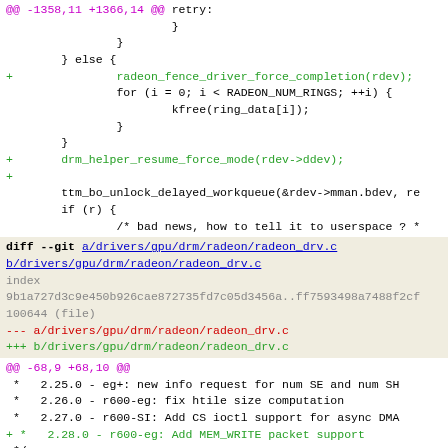[Figure (screenshot): Code diff view showing changes to radeon driver files. Top section shows a code diff with added lines in green and magenta hunk headers, followed by a new file diff section for radeon_drv.c with index, file mode, removed/added lines, and version bump.]